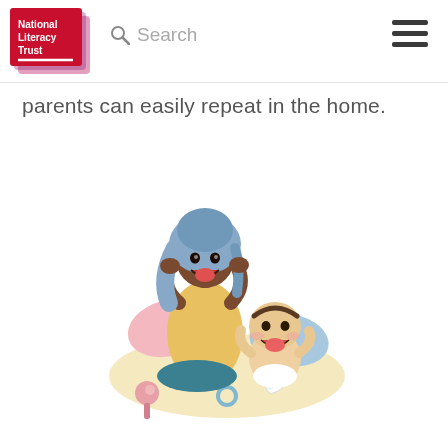[Figure (logo): National Literacy Trust logo — red/magenta square with white text 'National Literacy Trust' and a red underline, with a purple/pink gradient shadow]
Search
[Figure (illustration): Cartoon illustration of a woman wearing a blue hijab and yellow top, kneeling and making an expressive face with hands on cheeks, interacting with a happy laughing baby sitting on a cream mat surrounded by pillows and baby toys including a rattle, teether, and bottle]
parents can easily repeat in the home.